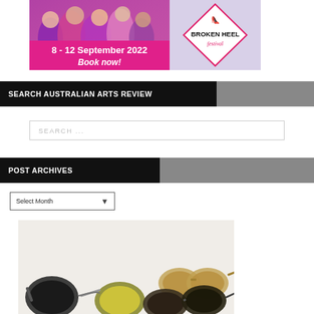[Figure (photo): Broken Heel Festival advertisement banner. Shows colorful crowd in festival costume on the left, with a diamond-shaped logo featuring a high heel shoe and text 'BROKEN HEEL festival' on the right. Pink background with text '8 - 12 September 2022 Book now!']
SEARCH AUSTRALIAN ARTS REVIEW
SEARCH ...
POST ARCHIVES
Select Month
[Figure (photo): Assorted sunglasses displayed on a white/cream background, showing multiple pairs of sunglasses in various styles including round frames and aviators in tortoiseshell, gold, and black colors.]